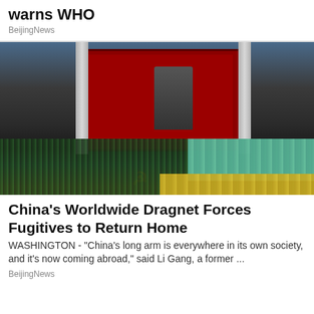warns WHO
BeijingNews
[Figure (photo): Large outdoor screen showing a Chinese leader speaking at a podium with Communist Party hammer and sickle symbol, surrounded by crowds in teal and yellow outfits at what appears to be a major Chinese state event.]
China's Worldwide Dragnet Forces Fugitives to Return Home
WASHINGTON -  "China's long arm is everywhere in its own society, and it's now coming abroad," said Li Gang, a former ...
BeijingNews